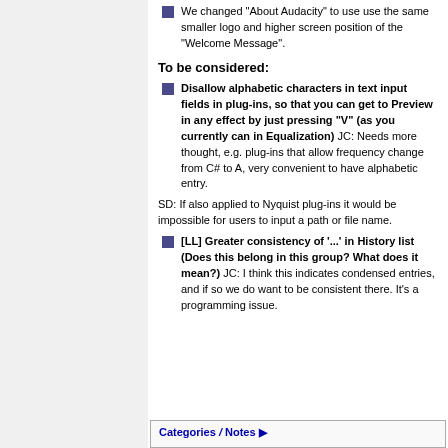We changed "About Audacity" to use use the same smaller logo and higher screen position of the "Welcome Message".
To be considered:
Disallow alphabetic characters in text input fields in plug-ins, so that you can get to Preview in any effect by just pressing "V" (as you currently can in Equalization) JC: Needs more thought, e.g. plug-ins that allow frequency change from C# to A, very convenient to have alphabetic entry.
SD: If also applied to Nyquist plug-ins it would be impossible for users to input a path or file name.
[LL] Greater consistency of '...' in History list (Does this belong in this group? What does it mean?) JC: I think this indicates condensed entries, and if so we do want to be consistent there. It's a programming issue.